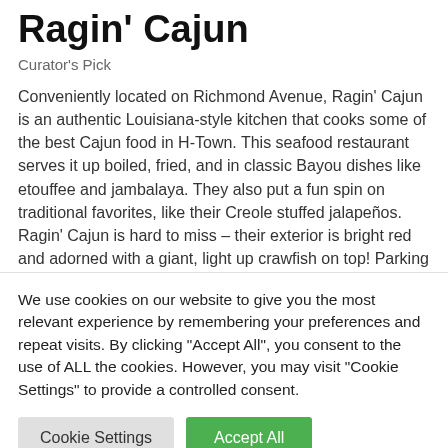Ragin' Cajun
Curator's Pick
Conveniently located on Richmond Avenue, Ragin' Cajun is an authentic Louisiana-style kitchen that cooks some of the best Cajun food in H-Town. This seafood restaurant serves it up boiled, fried, and in classic Bayou dishes like etouffee and jambalaya. They also put a fun spin on traditional favorites, like their Creole stuffed jalapeños. Ragin' Cajun is hard to miss – their exterior is bright red and adorned with a giant, light up crawfish on top! Parking
We use cookies on our website to give you the most relevant experience by remembering your preferences and repeat visits. By clicking "Accept All", you consent to the use of ALL the cookies. However, you may visit "Cookie Settings" to provide a controlled consent.
Cookie Settings
Accept All